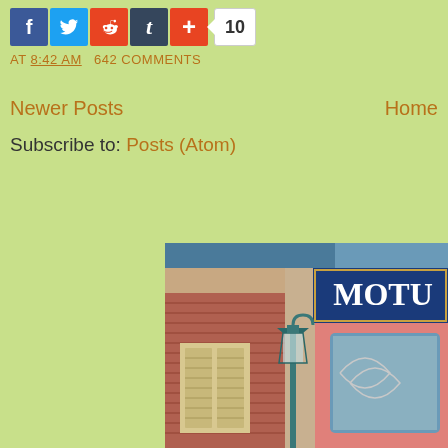[Figure (other): Social media share buttons: Facebook (blue), Twitter (light blue), Reddit (orange-red), Tumblr (dark blue), Plus/AddThis (orange-red), followed by a share count badge showing 10]
AT 8:42 AM   642 COMMENTS
Newer Posts   Home
Subscribe to: Posts (Atom)
[Figure (photo): Photo of a colorful building exterior with a blue sign reading 'MOTU', brick facade, pink decorative trim with blue tile window, and a green lamp post, visible partial street view at a theme park]